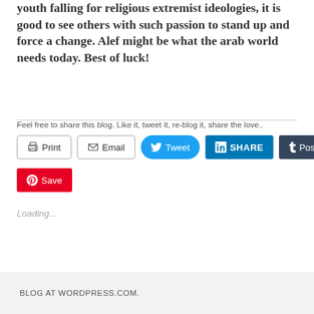youth falling for religious extremist ideologies, it is good to see others with such passion to stand up and force a change. Alef might be what the arab world needs today. Best of luck!
Feel free to share this blog. Like it, tweet it, re-blog it, share the love..
[Figure (screenshot): Social sharing buttons: Print, Email, Tweet (Twitter), Share (LinkedIn), Post (Tumblr), Save (Pinterest)]
Loading...
BLOG AT WORDPRESS.COM.